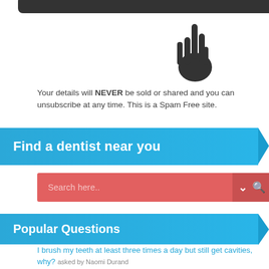[Figure (illustration): Dark rounded rectangle UI bar at top with a hand/cursor pointer icon on the right side, partially cropped]
Your details will NEVER be sold or shared and you can unsubscribe at any time. This is a Spam Free site.
Find a dentist near you
[Figure (screenshot): Search bar with salmon/red background showing 'Search here..' placeholder text with dropdown chevron and magnifier icon on right]
Popular Questions
I brush my teeth at least three times a day but still get cavities, why? asked by Naomi Durand
Would you trust a dentist who takes blurry X-ray images? asked by